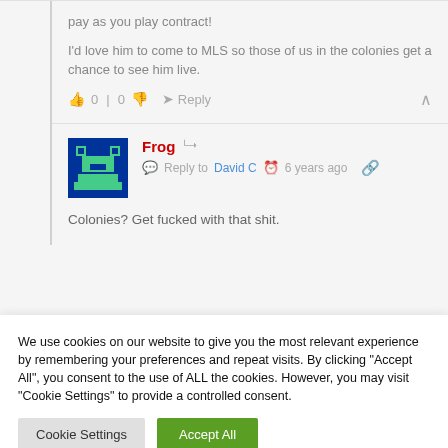pay as you play contract!
I'd love him to come to MLS so those of us in the colonies get a chance to see him live.
Frog  Reply to David C  6 years ago
Colonies? Get fucked with that shit.
We use cookies on our website to give you the most relevant experience by remembering your preferences and repeat visits. By clicking "Accept All", you consent to the use of ALL the cookies. However, you may visit "Cookie Settings" to provide a controlled consent.